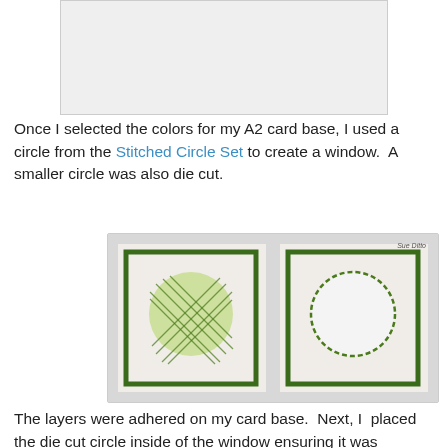[Figure (photo): Partial view of a photo at top of page, cropped off]
Once I selected the colors for my A2 card base, I used a circle from the Stitched Circle Set to create a window.  A smaller circle was also die cut.
[Figure (photo): Two side-by-side photos showing green-bordered white cards with circles: left card has a green cross-hatched stamped circle, right card shows the circle as a window cutout with stitched border. Watermark 'Sue Ditto' in top right corner.]
The layers were adhered on my card base.  Next, I  placed the die cut circle inside of the window ensuring it was centered.
[Figure (photo): Partial view of a photo at bottom of page, cropped off]